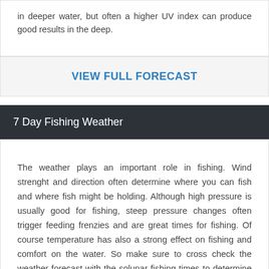in deeper water, but often a higher UV index can produce good results in the deep.
VIEW FULL FORECAST
7 Day Fishing Weather
The weather plays an important role in fishing. Wind strenght and direction often determine where you can fish and where fish might be holding. Although high pressure is usually good for fishing, steep pressure changes often trigger feeding frenzies and are great times for fishing. Of course temperature has also a strong effect on fishing and comfort on the water. So make sure to cross check the weather forecast with the solunar fishing times to determine the best times to go fishing. The graph below shows you the 3 hourly weather progression over the next 7 days. Scroll the graph left or right to see more.